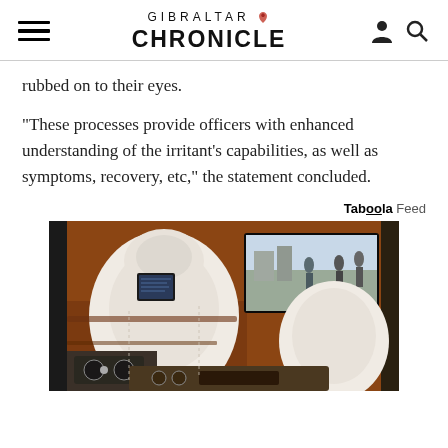GIBRALTAR CHRONICLE
rubbed on to their eyes.
“These processes provide officers with enhanced understanding of the irritant’s capabilities, as well as symptoms, recovery, etc,” the statement concluded.
Taboola Feed
[Figure (photo): Luxury car interior showing white leather seats with wood trim and rear-seat entertainment screens]